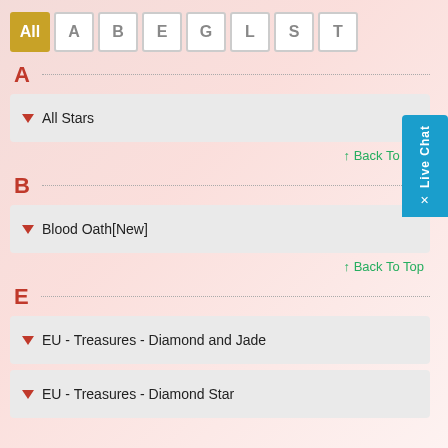All A B E G L S T
A
All Stars
↑ Back To Top
B
Blood Oath[New]
↑ Back To Top
E
EU - Treasures - Diamond and Jade
EU - Treasures - Diamond Star